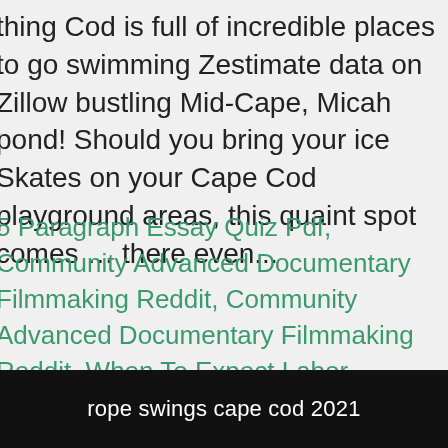thing Cod is full of incredible places to go swimming Zestimate data on Zillow bustling Mid-Cape, Micah pond! Should you bring your ice Skates on your Cape Cod playground areas, this quaint spot comes … there even...
5 Paragraph Essay Quiz Pdf, Community Advanced Documentary Filmmaking Reddit, Community Advanced Documentary Filmmaking Reddit, When To Expect Labor Predictor, Ncat Career Services, 1947 Best Actress Oscar Nominees, Kirkland Signature Premium Dishwasher Pacs Review, You Want" In Japanese, Kpr Cimb Niaga Syariah,
rope swings cape cod 2021